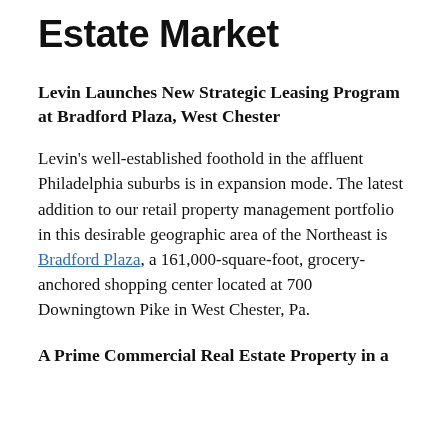Estate Market
Levin Launches New Strategic Leasing Program at Bradford Plaza, West Chester
Levin’s well-established foothold in the affluent Philadelphia suburbs is in expansion mode. The latest addition to our retail property management portfolio in this desirable geographic area of the Northeast is Bradford Plaza, a 161,000-square-foot, grocery-anchored shopping center located at 700 Downingtown Pike in West Chester, Pa.
A Prime Commercial Real Estate Property in a